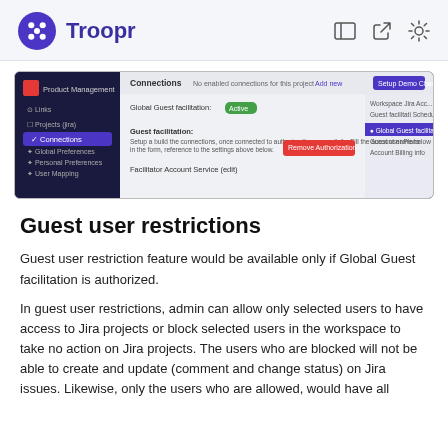Troopr
[Figure (screenshot): Screenshot of the Troopr Connections settings interface showing Global Guest facilitation and Guest facilitation options with a dark sidebar navigation.]
Guest user restrictions
Guest user restriction feature would be available only if Global Guest facilitation is authorized.
In guest user restrictions, admin can allow only selected users to have access to Jira projects or block selected users in the workspace to take no action on Jira projects. The users who are blocked will not be able to create and update (comment and change status) on Jira issues. Likewise, only the users who are allowed, would have all